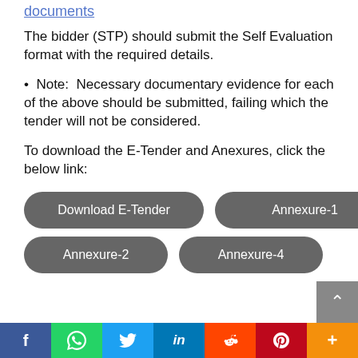documents
The bidder (STP) should submit the Self Evaluation format with the required details.
• Note: Necessary documentary evidence for each of the above should be submitted, failing which the tender will not be considered.
To download the E-Tender and Anexures, click the below link:
[Figure (other): Download buttons: Download E-Tender, Annexure-1, Annexure-2, Annexure-4]
Social share bar: Facebook, WhatsApp, Twitter, LinkedIn, Reddit, Pinterest, More